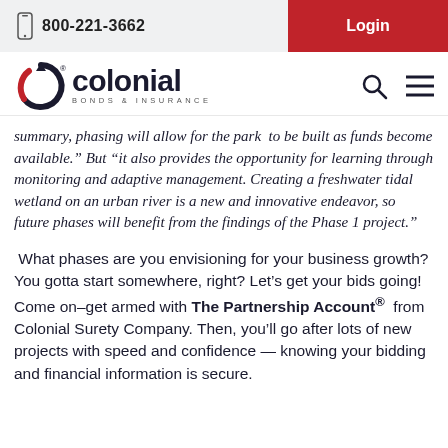800-221-3662   Login
[Figure (logo): Colonial Bonds & Insurance logo with circular arrow icon, search icon, and hamburger menu icon]
summary, phasing will allow for the park  to be built as funds become available.” But “it also provides the opportunity for learning through monitoring and adaptive management. Creating a freshwater tidal wetland on an urban river is a new and innovative endeavor, so future phases will benefit from the findings of the Phase 1 project.”
What phases are you envisioning for your business growth? You gotta start somewhere, right? Let’s get your bids going! Come on–get armed with The Partnership Account® from Colonial Surety Company. Then, you’ll go after lots of new projects with speed and confidence — knowing your bidding and financial information is secure.